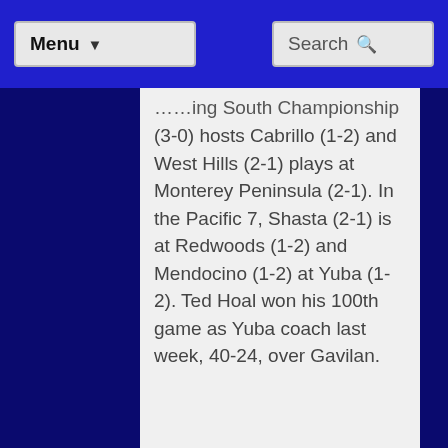Menu | Search
(3-0) hosts Cabrillo (1-2) and West Hills (2-1) plays at Monterey Peninsula (2-1). In the Pacific 7, Shasta (2-1) is at Redwoods (1-2) and Mendocino (1-2) at Yuba (1-2). Ted Hoal won his 100th game as Yuba coach last week, 40-24, over Gavilan.